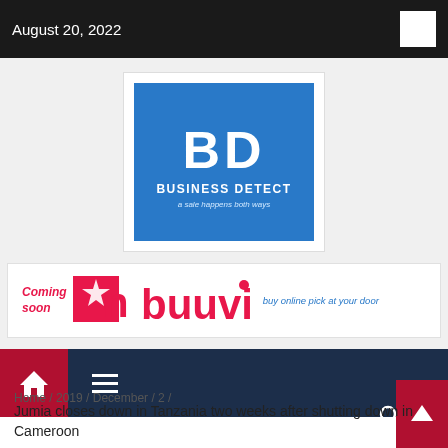August 20, 2022
[Figure (logo): Business Detect logo — blue square with white 'BD' letters, 'BUSINESS DETECT' text, and tagline 'a sale happens both ways']
[Figure (logo): Inbuuvi banner — Coming soon label in pink, inbuuvi logo in pink/magenta, tagline 'buy online pick at your door' in blue]
Home / 2019 / December / 2 /
Jumia closes down in Tanzania two weeks after shutting down in Cameroon